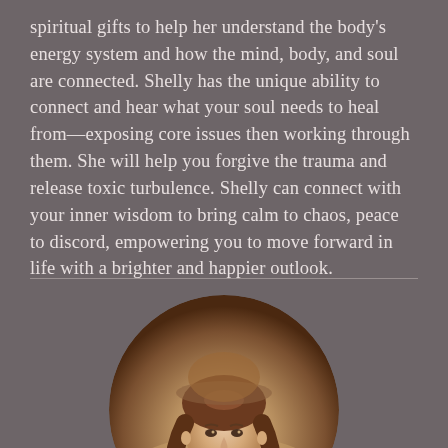spiritual gifts to help her understand the body's energy system and how the mind, body, and soul are connected. Shelly has the unique ability to connect and hear what your soul needs to heal from—exposing core issues then working through them. She will help you forgive the trauma and release toxic turbulence. Shelly can connect with your inner wisdom to bring calm to chaos, peace to discord, empowering you to move forward in life with a brighter and happier outlook.
[Figure (photo): Circular cropped portrait photo of a woman with long brown hair, shown from approximately waist up, against a warm neutral background]